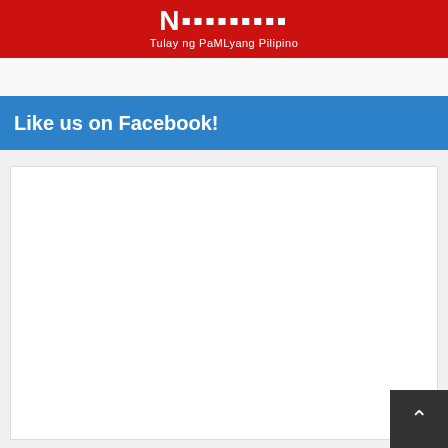Tulay ng PaMLyang Pilipino
Like us on Facebook!
[Figure (other): Empty white Facebook plugin box placeholder]